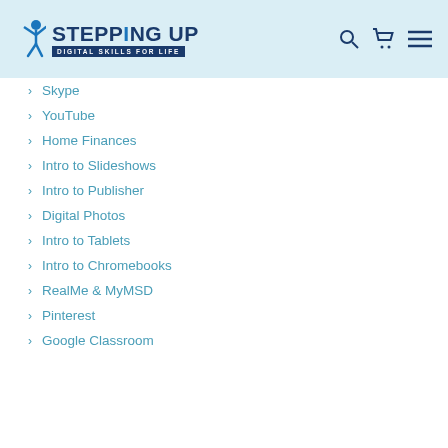[Figure (logo): Stepping Up Digital Skills For Life logo with blue figure/person icon]
Skype
YouTube
Home Finances
Intro to Slideshows
Intro to Publisher
Digital Photos
Intro to Tablets
Intro to Chromebooks
RealMe & MyMSD
Pinterest
Google Classroom